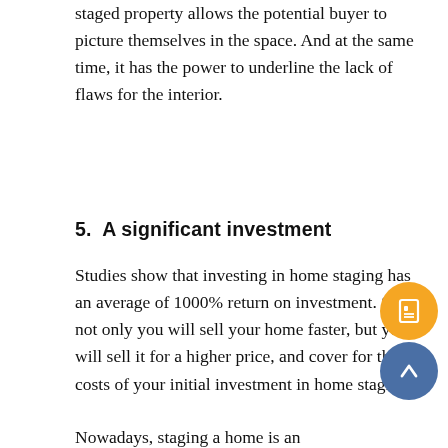staged property allows the potential buyer to picture themselves in the space. And at the same time, it has the power to underline the lack of flaws for the interior.
5.  A significant investment
Studies show that investing in home staging has an average of 1000% return on investment. So, not only you will sell your home faster, but you will sell it for a higher price, and cover for the costs of your initial investment in home staging.
Nowadays, staging a home is an